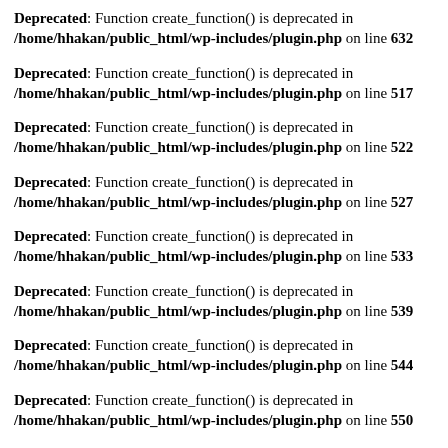Deprecated: Function create_function() is deprecated in /home/hhakan/public_html/wp-includes/plugin.php on line 632
Deprecated: Function create_function() is deprecated in /home/hhakan/public_html/wp-includes/plugin.php on line 517
Deprecated: Function create_function() is deprecated in /home/hhakan/public_html/wp-includes/plugin.php on line 522
Deprecated: Function create_function() is deprecated in /home/hhakan/public_html/wp-includes/plugin.php on line 527
Deprecated: Function create_function() is deprecated in /home/hhakan/public_html/wp-includes/plugin.php on line 533
Deprecated: Function create_function() is deprecated in /home/hhakan/public_html/wp-includes/plugin.php on line 539
Deprecated: Function create_function() is deprecated in /home/hhakan/public_html/wp-includes/plugin.php on line 544
Deprecated: Function create_function() is deprecated in /home/hhakan/public_html/wp-includes/plugin.php on line 550
Deprecated: Function create_function() is deprecated in